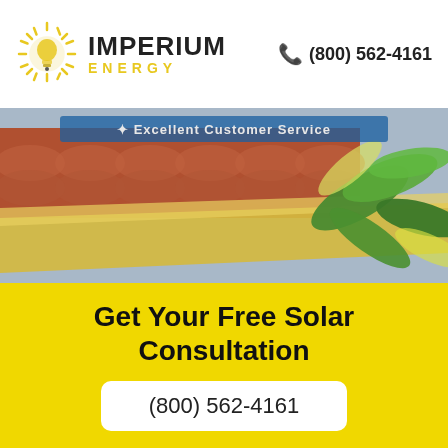[Figure (logo): Imperium Energy logo with sun/lightbulb graphic, company name IMPERIUM in dark and ENERGY in yellow letters]
(800) 562-4161
[Figure (photo): Photo of solar panel installation on a terracotta roof with a tropical plant in the foreground. Banner text reads 'Excellent Customer Service']
Get Your Free Solar Consultation
(800) 562-4161